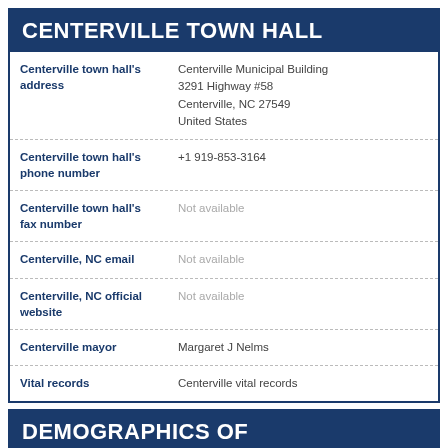CENTERVILLE TOWN HALL
| Field | Value |
| --- | --- |
| Centerville town hall's address | Centerville Municipal Building
3291 Highway #58
Centerville, NC 27549
United States |
| Centerville town hall's phone number | +1 919-853-3164 |
| Centerville town hall's fax number | Not available |
| Centerville, NC email | Not available |
| Centerville, NC official website | Not available |
| Centerville mayor | Margaret J Nelms |
| Vital records | Centerville vital records |
DEMOGRAPHICS OF